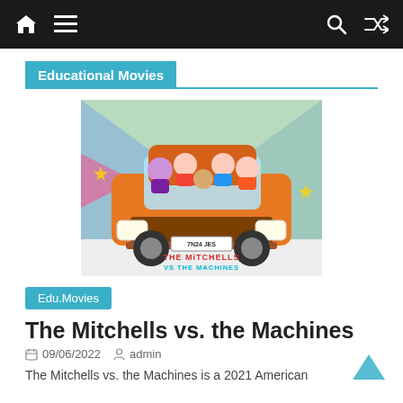Navigation bar with home, menu, search, and shuffle icons
Educational Movies
[Figure (illustration): Animated movie poster for 'The Mitchells vs. the Machines' showing a family of cartoon characters riding in an orange car against a colorful background with the movie title at the bottom.]
Edu.Movies
The Mitchells vs. the Machines
09/06/2022  admin
The Mitchells vs. the Machines is a 2021 American